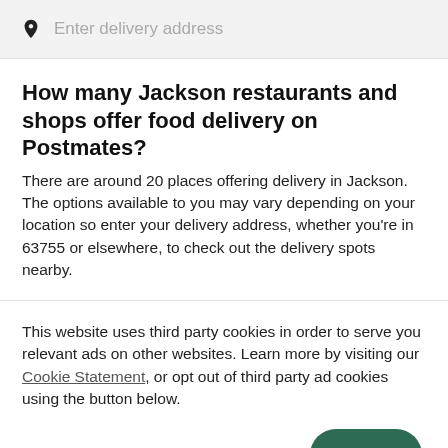[Figure (other): Search bar with map pin icon and placeholder text 'Enter delivery address' on a light gray background]
How many Jackson restaurants and shops offer food delivery on Postmates?
There are around 20 places offering delivery in Jackson. The options available to you may vary depending on your location so enter your delivery address, whether you're in 63755 or elsewhere, to check out the delivery spots nearby.
This website uses third party cookies in order to serve you relevant ads on other websites. Learn more by visiting our Cookie Statement, or opt out of third party ad cookies using the button below.
OPT OUT
GOT IT